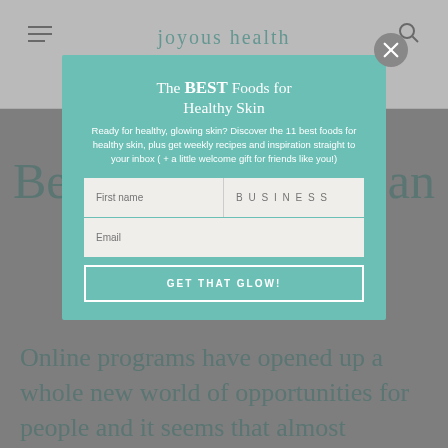joyous health
8 Things You Must Do Before Launching an Online Program
[Figure (screenshot): Popup overlay modal for 'The BEST Foods for Healthy Skin' email signup on joyous health website. Contains headline, descriptive text, first name and business fields, email field, and 'GET THAT GLOW!' button.]
Online programs have opened up a whole new world of opportunities for people and it seems that almost everyone either has an online